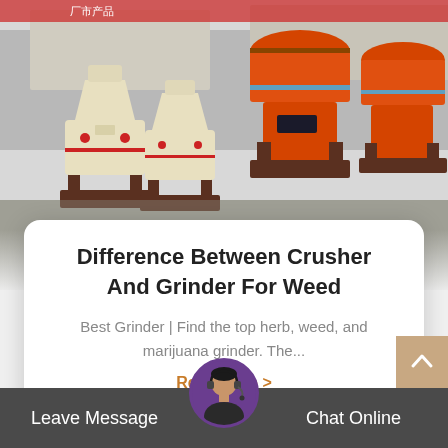[Figure (photo): Outdoor photo of industrial cone crushers and grinding machines in cream/beige and orange colors, arranged in rows at a factory yard with buildings in background]
Difference Between Crusher And Grinder For Weed
Best Grinder | Find the top herb, weed, and marijuana grinder. The...
Read More >
Leave Message  Chat Online